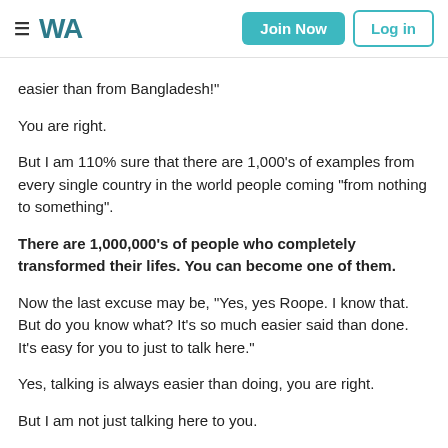≡ WA | Join Now | Log in
easier than from Bangladesh!"
You are right.
But I am 110% sure that there are 1,000's of examples from every single country in the world people coming "from nothing to something".
There are 1,000,000's of people who completely transformed their lifes. You can become one of them.
Now the last excuse may be, "Yes, yes Roope. I know that. But do you know what? It's so much easier said than done. It's easy for you to just to talk here."
Yes, talking is always easier than doing, you are right.
But I am not just talking here to you.